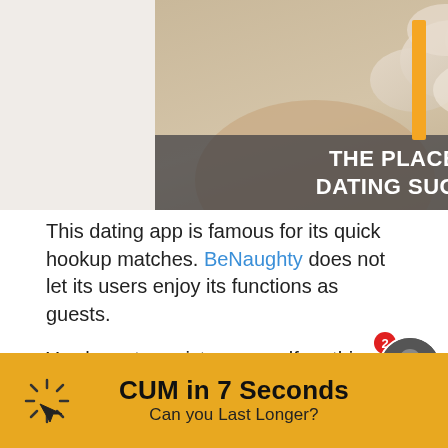[Figure (photo): Person wearing floral/cream colored outfit, partially visible, with text overlay 'THE PLACE FOR REAL DATING SUCCESS - NOW' on dark semi-transparent banner. Orange vertical bar on right side.]
This dating app is famous for its quick hookup matches. BeNaughty does not let its users enjoy its functions as guests.
You have to register yourself on this site or buy its subscription, then only you can enjoy this site.
Moreover, using this site is pretty easy, y
[Figure (infographic): Yellow advertisement banner with cursor/loading icon on left, bold text 'CUM in 7 Seconds' and subtitle 'Can you Last Longer?', and a circular avatar photo with red badge showing '2' and green online dot.]